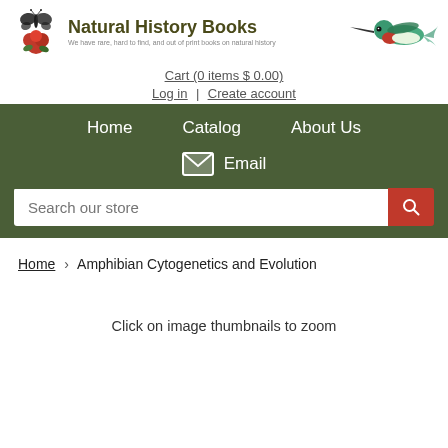[Figure (logo): Natural History Books logo with butterfly and flower illustration, and a hummingbird illustration on the right]
Cart (0 items $ 0.00)
Log in | Create account
Home   Catalog   About Us
Email
Search our store
Home › Amphibian Cytogenetics and Evolution
Click on image thumbnails to zoom